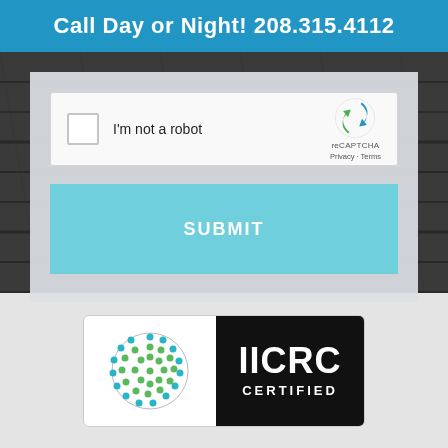Call Day or Night! 208.315.4112
[Figure (screenshot): reCAPTCHA widget with checkbox labeled 'I'm not a robot' and reCAPTCHA logo with Privacy and Terms links]
SUBMIT
[Figure (logo): IICRC CERTIFIED badge with globe logo on left white panel and bold IICRC CERTIFIED text on right black panel]